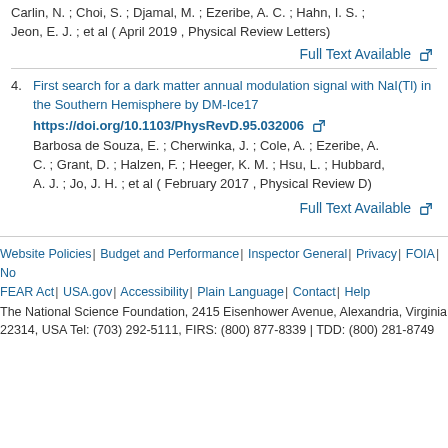Carlin, N. ; Choi, S. ; Djamal, M. ; Ezeribe, A. C. ; Hahn, I. S. ; Jeon, E. J. ; et al ( April 2019 , Physical Review Letters)
Full Text Available
4. First search for a dark matter annual modulation signal with NaI(Tl) in the Southern Hemisphere by DM-Ice17
https://doi.org/10.1103/PhysRevD.95.032006
Barbosa de Souza, E. ; Cherwinka, J. ; Cole, A. ; Ezeribe, A. C. ; Grant, D. ; Halzen, F. ; Heeger, K. M. ; Hsu, L. ; Hubbard, A. J. ; Jo, J. H. ; et al ( February 2017 , Physical Review D)
Full Text Available
Website Policies | Budget and Performance | Inspector General | Privacy | FOIA | No FEAR Act | USA.gov | Accessibility | Plain Language | Contact | Help
The National Science Foundation, 2415 Eisenhower Avenue, Alexandria, Virginia 22314, USA Tel: (703) 292-5111, FIRS: (800) 877-8339 | TDD: (800) 281-8749